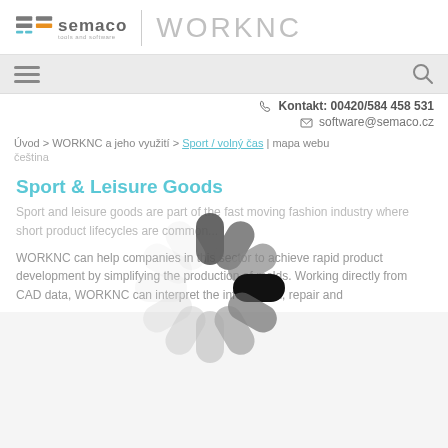semaco tools and software | WORKNC
[Figure (logo): Semaco tools and software logo with icon and WORKNC brand name]
[Figure (infographic): Hamburger menu icon and search icon in navigation bar]
Kontakt: 00420/584 458 531
software@semaco.cz
Úvod > WORKNC a jeho využití > Sport / volný čas | mapa webu
čeština
[Figure (infographic): Loading spinner animation overlay on page content]
Sport & Leisure Goods
Sport and leisure goods are part of the fast moving fashion industry where short product lifecycles are common...
WORKNC can help companies in this sector to achieve rapid product development by simplifying the production of molds. Working directly from CAD data, WORKNC can interpret the information, repair and